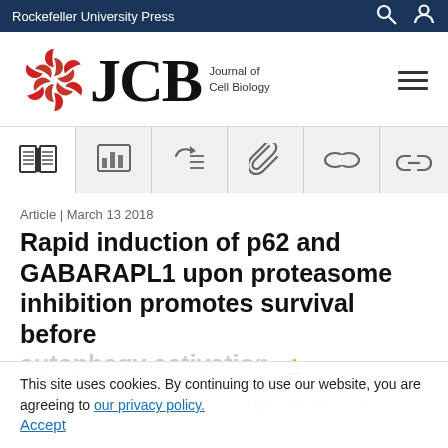Rockefeller University Press
[Figure (logo): JCB Journal of Cell Biology logo with red circular molecule icon]
[Figure (infographic): Icon toolbar with article, data, citations, and link icons]
Article | March 13 2018
Rapid induction of p62 and GABARAPL1 upon proteasome inhibition promotes survival before autophagy activation.
This site uses cookies. By continuing to use our website, you are agreeing to our privacy policy. Accept